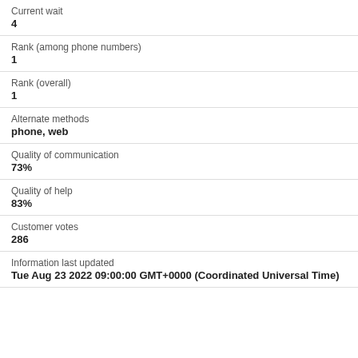Current wait
4
Rank (among phone numbers)
1
Rank (overall)
1
Alternate methods
phone, web
Quality of communication
73%
Quality of help
83%
Customer votes
286
Information last updated
Tue Aug 23 2022 09:00:00 GMT+0000 (Coordinated Universal Time)